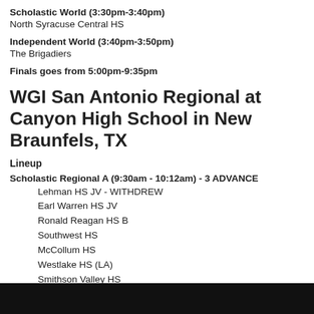Scholastic World (3:30pm-3:40pm)
North Syracuse Central HS
Independent World (3:40pm-3:50pm)
The Brigadiers
Finals goes from 5:00pm-9:35pm
WGI San Antonio Regional at Canyon High School in New Braunfels, TX
Lineup
Scholastic Regional A (9:30am - 10:12am) - 3 ADVANCE
Lehman HS JV - WITHDREW
Earl Warren HS JV
Ronald Reagan HS B
Southwest HS
McCollum HS
Westlake HS (LA)
Smithson Valley HS
Independent Regional A (10:19am-10:26am) - ALL ADVANCE
Clements HS JV